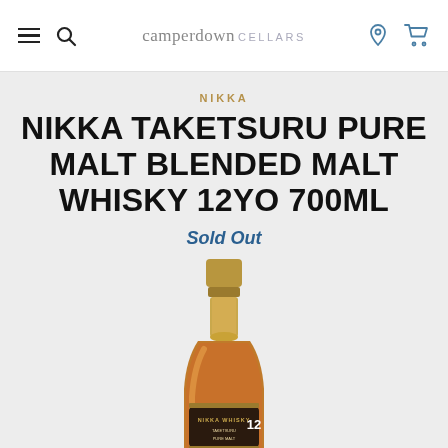camperdown CELLARS
NIKKA
NIKKA TAKETSURU PURE MALT BLENDED MALT WHISKY 12YO 700ML
Sold Out
[Figure (photo): Bottle of Nikka Taketsuru Pure Malt Blended Malt Whisky 12YO 700ml with gold cap and dark label, whisky visible amber through the glass]